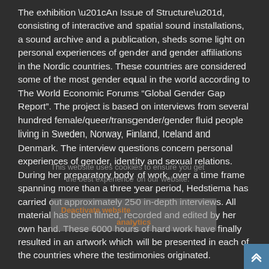The exhibition “An Issue of Structure”, consisting of interactive and spatial sound installations, a sound archive and a publication, sheds some light on personal experiences of gender and gender affiliations in the Nordic countries. These countries are considered some of the most gender equal in the world according to The World Economic Forums “Global Gender Gap Report”. The project is based on interviews from several hundred female/queer/transgender/gender fluid people living in Sweden, Norway, Finland, Iceland and Denmark. The interview questions concern personal experiences of gender, identity and sexual relations. During her preparatory body of work, over a time frame spanning more than a three year period, Hedstiema has carried out approximately 250 in-depth interviews. All material has been filmed, recorded and edited by her own hand. These 6000 hours of hard work have finally resulted in an artwork which will be presented in each of the countries where the testimonies originated.